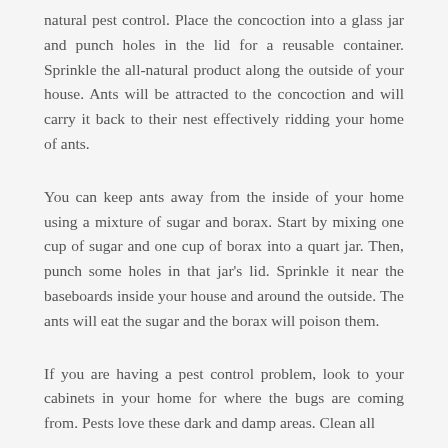natural pest control. Place the concoction into a glass jar and punch holes in the lid for a reusable container. Sprinkle the all-natural product along the outside of your house. Ants will be attracted to the concoction and will carry it back to their nest effectively ridding your home of ants.
You can keep ants away from the inside of your home using a mixture of sugar and borax. Start by mixing one cup of sugar and one cup of borax into a quart jar. Then, punch some holes in that jar's lid. Sprinkle it near the baseboards inside your house and around the outside. The ants will eat the sugar and the borax will poison them.
If you are having a pest control problem, look to your cabinets in your home for where the bugs are coming from. Pests love these dark and damp areas. Clean all